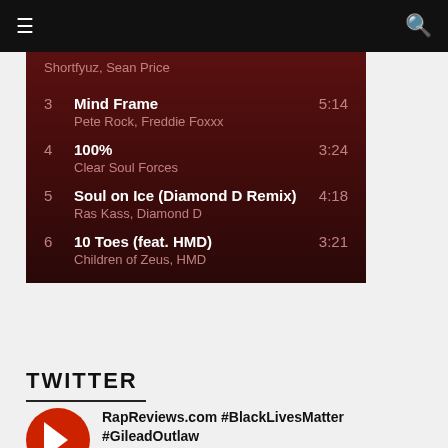Navigation bar with menu and search icons
Shortfyuz, Sean Price
3  Mind Frame  5:14
Pete Rock, Freddie Foxxx
4  100%  3:24
Clear Soul Forces
5  Soul on Ice (Diamond D Remix)  4:18
Ras Kass, Diamond D
6  10 Toes (feat. HMD)  3:21
Children of Zeus, HMD
TWITTER
RapReviews.com #BlackLivesMatter #GileadOutlaw  Follow